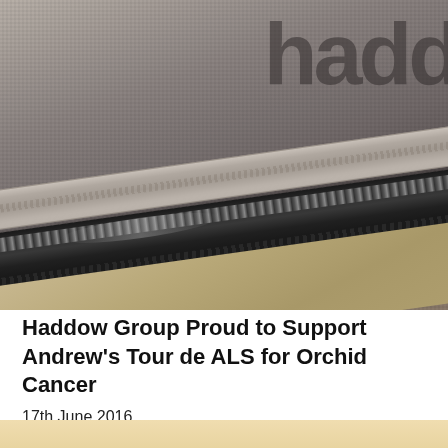[Figure (photo): Close-up photograph of a grey cycling jersey with black zipper and elastic waistband, showing the Haddow branding/logo text on the fabric]
Haddow Group Proud to Support Andrew's Tour de ALS for Orchid Cancer
17th June 2016
Read more >
[Figure (photo): Partial view of another photo at the bottom of the page (cut off)]